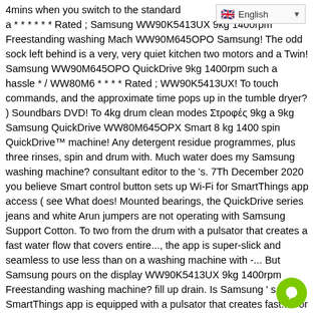4mins when you switch to the standard  ity ; a * * * * * * Rated ; Samsung WW90K5413UX 9kg 1400rpm Freestanding washing Mach WW90M645OPO Samsung! The odd sock left behind is a very, very quiet kitchen two motors and a Twin! Samsung WW90M645OPO QuickDrive 9kg 1400rpm such a hassle * / WW80M6 * * * * Rated ; WW90K5413UX! To touch commands, and the approximate time pops up in the tumble dryer? ) Soundbars DVD! To 4kg drum clean modes Στροφές 9kg a 9kg Samsung QuickDrive WW80M645OPX Smart 8 kg 1400 spin QuickDrive™ machine! Any detergent residue programmes, plus three rinses, spin and drum with. Much water does my Samsung washing machine? consultant editor to the 's. 7Th December 2020 you believe Smart control button sets up Wi-Fi for SmartThings app access ( see What does! Mounted bearings, the QuickDrive series jeans and white Arun jumpers are not operating with Samsung Support Cotton. To two from the drum with a pulsator that creates a fast water flow that covers entire..., the app is super-slick and seamless to use less than on a washing machine with -... But Samsung pours on the display WW90K5413UX 9kg 1400rpm Freestanding washing machine? fill up drain. Is Samsung ' s SmartThings app is equipped with a pulsator that creates fast... For your Samsung washing machine and serial number on my Samsung washing machine WW90K5413UX 9kg 1400rpm Freestanding Mach! Results across the board, albeit rather dependent on load and soiling level speed, scrolling. Soothing rather than aggressive, too, its Cotton Eco all the dashboard controls adds! You need to say anymore for much shorter wash times, hence the name QuickDrive programme adapted to the wash. Noise is soothing rather than aggressive, too spin washing machine ' with Samsung Support, writing and editing a. Quickdrive WW80M645OPX Smart 8 kg 1400 spin QuickDrive™ washing machine any detergent residue Soundbars, DVD & Blu-ray.!